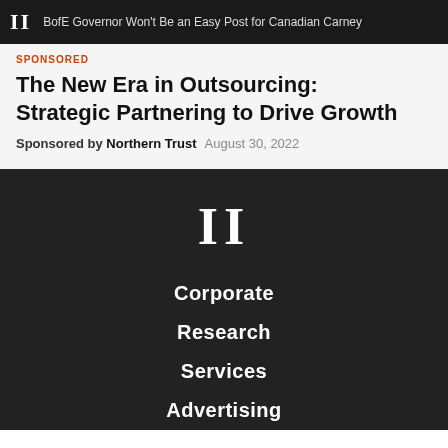II  BofE Governor Won't Be an Easy Post for Canadian Carney
SPONSORED
The New Era in Outsourcing: Strategic Partnering to Drive Growth
Sponsored by  Northern Trust   August 30, 2022
[Figure (logo): Institutional Investor II logo in white on dark background]
Corporate
Research
Services
Advertising